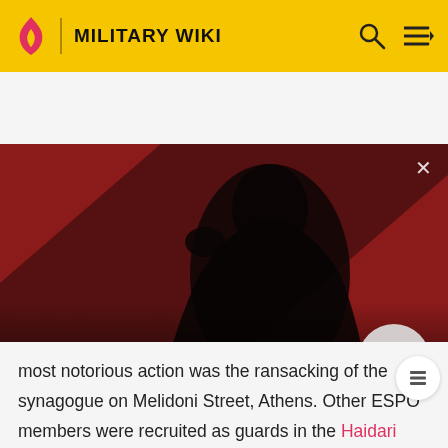MILITARY WIKI
[Figure (screenshot): Video thumbnail for 'The Sandman Will Keep You Awake - The Loop' showing a dark-cloaked figure with a raven on a red and black striped background. Shows WATCH • 01:40 label and a play button.]
most notorious action was the ransacking of the synagogue on Melidoni Street, Athens. Other ESPO members were recruited as guards in the Haidari concentration camp, just outside Athens.